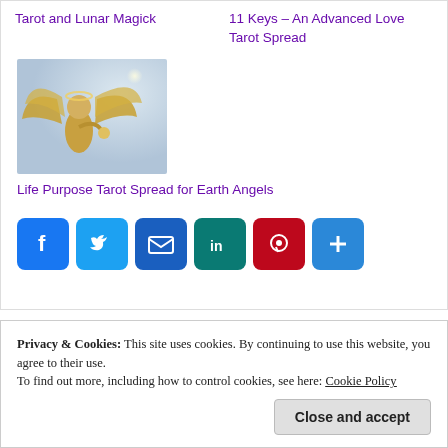Tarot and Lunar Magick
11 Keys – An Advanced Love Tarot Spread
[Figure (photo): Golden angel figure with wings spread, golden bokeh background]
Life Purpose Tarot Spread for Earth Angels
[Figure (infographic): Social sharing buttons: Facebook, Twitter, Email, LinkedIn, Pinterest, More]
Privacy & Cookies: This site uses cookies. By continuing to use this website, you agree to their use. To find out more, including how to control cookies, see here: Cookie Policy
Close and accept